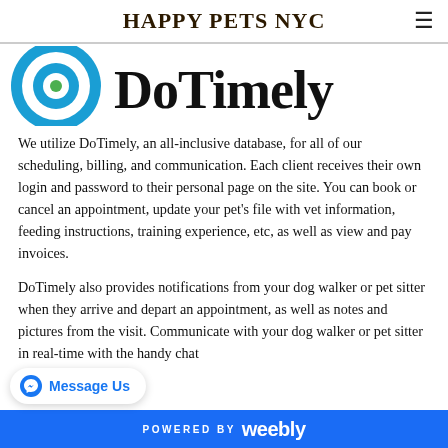HAPPY PETS NYC
[Figure (logo): DoTimely logo with blue circular target icon on the left and 'DoTimely' in bold black serif font on the right]
We utilize DoTimely, an all-inclusive database, for all of our scheduling, billing, and communication. Each client receives their own login and password to their personal page on the site. You can book or cancel an appointment, update your pet's file with vet information, feeding instructions, training experience, etc, as well as view and pay invoices.
DoTimely also provides notifications from your dog walker or pet sitter when they arrive and depart an appointment, as well as notes and pictures from the visit. Communicate with your dog walker or pet sitter in real-time with the handy chat
POWERED BY weebly